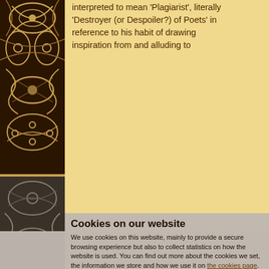[Figure (illustration): Decorative brown and black botanical/floral pattern border on the left side of the page, spanning full height]
interpreted to mean 'Plagiarist', literally 'Destroyer (or Despoiler?) of Poets' in reference to his habit of drawing inspiration from and alluding to earlier compositions, specifically Yoglingatal (bjoa Y0 for Hal and Eirksmal (Anon Eirm), attributed to several Smi... introductions to ... 'Poem-reciter proposed by Wadstein (1895a: 88) is
Cookies on our website

We use cookies on this website, mainly to provide a secure browsing experience but also to collect statistics on how the website is used. You can find out more about the cookies we set, the information we store and how we use it on the cookies page.

Continue